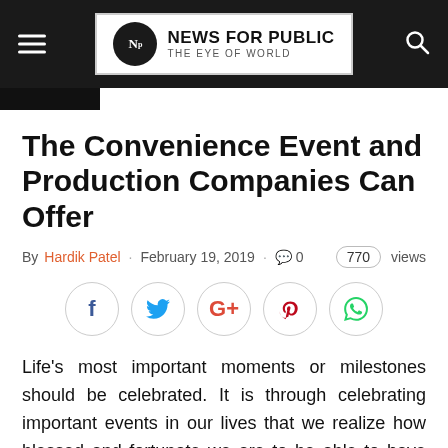NEWS FOR PUBLIC — THE EYE OF WORLD
The Convenience Event and Production Companies Can Offer
By Hardik Patel · February 19, 2019 · 0 · 770 views
[Figure (infographic): Social sharing buttons: Facebook, Twitter, Google+, Pinterest, WhatsApp]
Life's most important moments or milestones should be celebrated. It is through celebrating important events in our lives that we realize how blessed and fortunate we are to be able to have those moments. Important events like birthdays, weddings, debuts, christening, graduations, anniversaries and even small successes can be celebrated. We spend so much time working